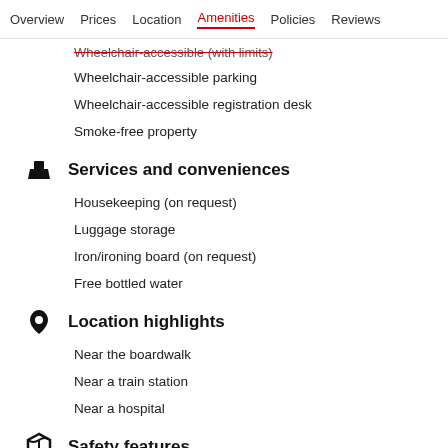Overview   Prices   Location   Amenities   Policies   Reviews
Wheelchair-accessible (with limits)
Wheelchair-accessible parking
Wheelchair-accessible registration desk
Smoke-free property
Services and conveniences
Housekeeping (on request)
Luggage storage
Iron/ironing board (on request)
Free bottled water
Location highlights
Near the boardwalk
Near a train station
Near a hospital
Safety features